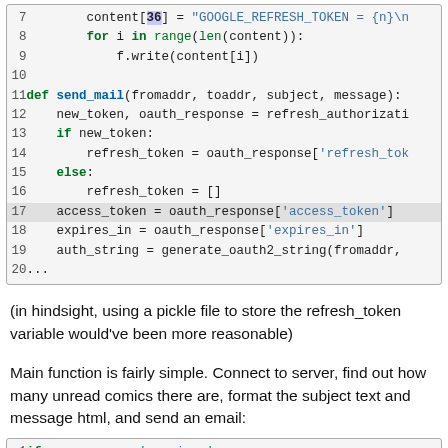[Figure (screenshot): Python code block showing lines 7-20 of a script dealing with OAuth tokens and file writing]
(in hindsight, using a pickle file to store the refresh_token variable would've been more reasonable)
Main function is fairly simple. Connect to server, find out how many unread comics there are, format the subject text and message html, and send an email:
[Figure (screenshot): Python code block showing lines 1-3 of a main block checking __name__ == '__main__' and using miniflux client]